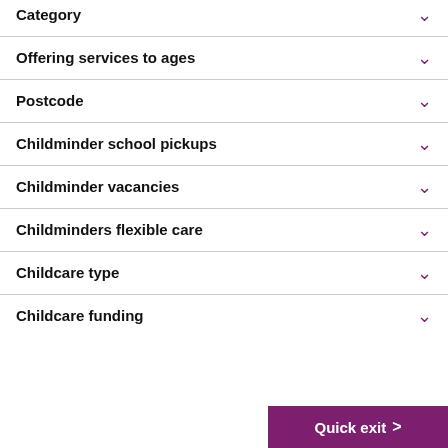Category
Offering services to ages
Postcode
Childminder school pickups
Childminder vacancies
Childminders flexible care
Childcare type
Childcare funding
Quick exit >